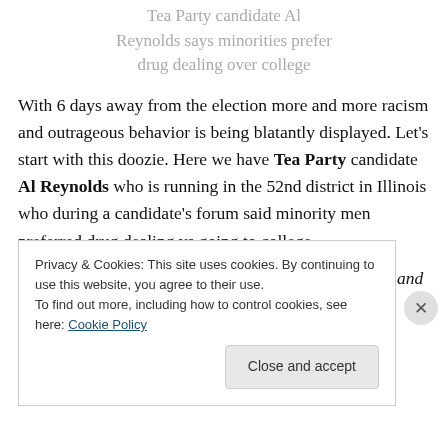Tea Party candidate Al Reynolds says minorities prefer drug dealing over college
With 6 days away from the election more and more racism and outrageous behavior is being blatantly displayed. Let's start with this doozie. Here we have Tea Party candidate Al Reynolds who is running in the 52nd district in Illinois who during a candidate's forum said minority men preferred drug dealing vs going to college.
“I’ve been in the city and the dichotomy of the women and
Privacy & Cookies: This site uses cookies. By continuing to use this website, you agree to their use.
To find out more, including how to control cookies, see here: Cookie Policy